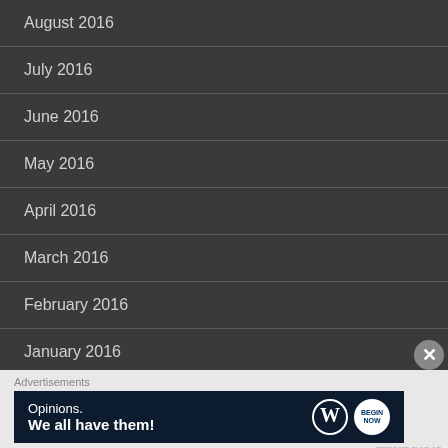August 2016
July 2016
June 2016
May 2016
April 2016
March 2016
February 2016
January 2016
Advertisements
[Figure (infographic): WordPress advertisement banner: 'Opinions. We all have them!' with WordPress logo and a button icon on dark navy background]